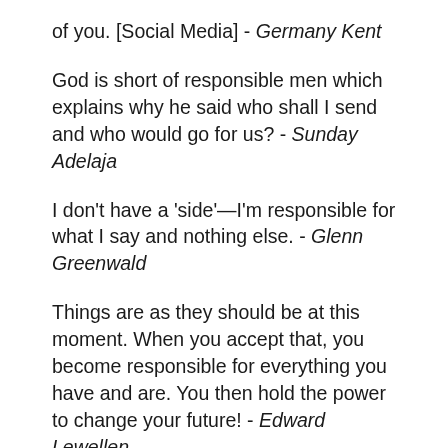of you. [Social Media] - Germany Kent
God is short of responsible men which explains why he said who shall I send and who would go for us? - Sunday Adelaja
I don't have a 'side'—I'm responsible for what I say and nothing else. - Glenn Greenwald
Things are as they should be at this moment. When you accept that, you become responsible for everything you have and are. You then hold the power to change your future! - Edward Lewellen
Be self-responsible. Be less dependent on